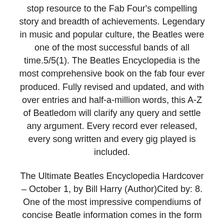stop resource to the Fab Four's compelling story and breadth of achievements. Legendary in music and popular culture, the Beatles were one of the most successful bands of all time.5/5(1). The Beatles Encyclopedia is the most comprehensive book on the fab four ever produced. Fully revised and updated, and with over entries and half-a-million words, this A-Z of Beatledom will clarify any query and settle any argument. Every record ever released, every song written and every gig played is included.
The Ultimate Beatles Encyclopedia Hardcover – October 1, by Bill Harry (Author)Cited by: 8. One of the most impressive compendiums of concise Beatle information comes in the form of a book called The Beatles Encyclopedia: Everything Fab Four, by Kenneth Womack. Womack's book has been out for a number of years now as a comprehensive, two-volume set. That set is very desirable, but